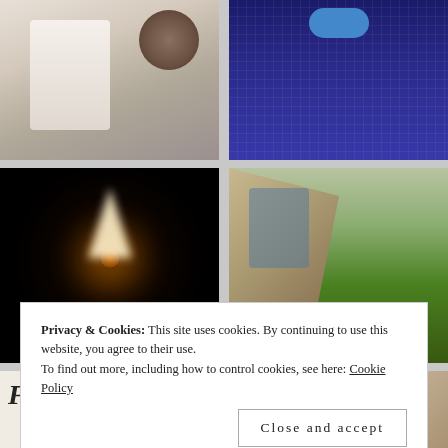[Figure (photo): Top-left photo: person lying in bed with what appears to be a medical device nearby, white sheets visible]
[Figure (photo): Top-right photo: person in blue textured sweater wearing a face mask, necklace visible]
[Figure (photo): Middle-left photo: close-up of a candle flame on black background, orange glowing wick at base with bright white flame above]
[Figure (photo): Middle-right photo: outdoor aerial or angled view with stone/concrete structures and green trees/vegetation]
[Figure (photo): Bottom-left photo (partially visible): light background with large italic bold text beginning with letters suggesting 'Fascinating' or similar]
[Figure (photo): Bottom-right photo (partially visible): dark circular object against lighter background]
Privacy & Cookies: This site uses cookies. By continuing to use this website, you agree to their use.
To find out more, including how to control cookies, see here: Cookie Policy
Close and accept